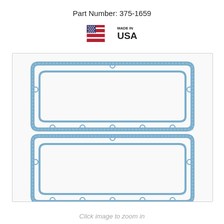Part Number: 375-1659
[Figure (photo): Made in USA badge with American flag icon and text 'MADE IN USA']
[Figure (photo): Two rectangular valve cover gaskets (part 375-1659) shown stacked vertically, made of blue composite material with bolt holes around the perimeter, on a white background inside a light grey bordered box]
Click image to zoom in